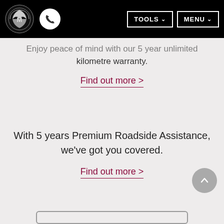[Figure (logo): Mazda logo on black navigation bar with phone icon, TOOLS and MENU buttons]
Enjoy peace of mind with our 5 year unlimited kilometre warranty.
Find out more >
With 5 years Premium Roadside Assistance, we've got you covered.
Find out more >